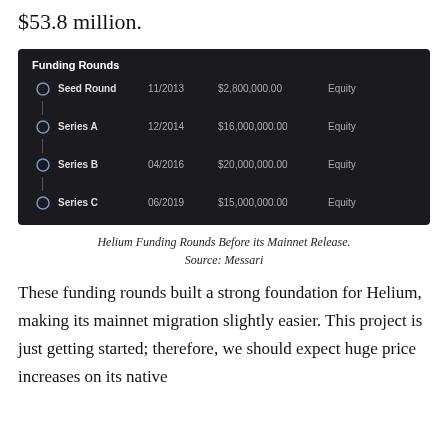$53.8 million.
| Funding Rounds |  |  |  |
| --- | --- | --- | --- |
| Seed Round | 11/2013 | $2,800,000.00 | Equity |
| Series A | 12/2014 | $16,000,000.00 | Equity |
| Series B | 04/2016 | $20,000,000.00 | Equity |
| Series C | 06/2019 | $15,000,000.00 | Equity |
Helium Funding Rounds Before its Mainnet Release. Source: Messari
These funding rounds built a strong foundation for Helium, making its mainnet migration slightly easier. This project is just getting started; therefore, we should expect huge price increases on its native